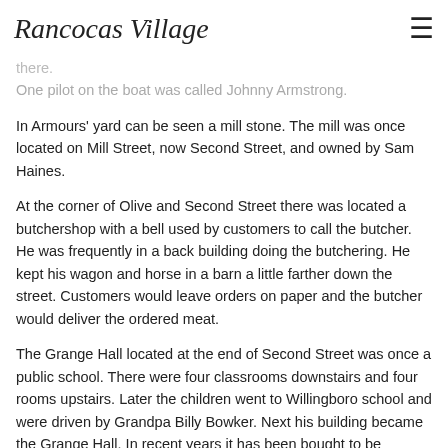Rancocas Village
and fruits; also passengers to Philadelphia. These passengers enjoyed the boat trip to Philadelphia and a day of shopping there. One pilot on the boat was called Johnny Armstrong.
In Armours' yard can be seen a mill stone. The mill was once located on Mill Street, now Second Street, and owned by Sam Haines.
At the corner of Olive and Second Street there was located a butchershop with a bell used by customers to call the butcher. He was frequently in a back building doing the butchering. He kept his wagon and horse in a barn a little farther down the street. Customers would leave orders on paper and the butcher would deliver the ordered meat.
The Grange Hall located at the end of Second Street was once a public school. There were four classrooms downstairs and four rooms upstairs. Later the children went to Willingboro school and were driven by Grandpa Billy Bowker. Next his building became the Grange Hall. In recent years it has been bought to be converted into a private dwelling.